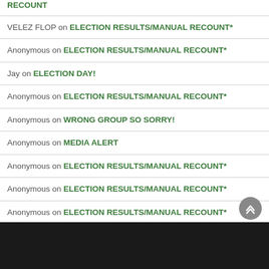RECOUNT
VELEZ FLOP on ELECTION RESULTS/MANUAL RECOUNT*
Anonymous on ELECTION RESULTS/MANUAL RECOUNT*
Jay on ELECTION DAY!
Anonymous on ELECTION RESULTS/MANUAL RECOUNT*
Anonymous on WRONG GROUP SO SORRY!
Anonymous on MEDIA ALERT
Anonymous on ELECTION RESULTS/MANUAL RECOUNT*
Anonymous on ELECTION RESULTS/MANUAL RECOUNT*
Anonymous on ELECTION RESULTS/MANUAL RECOUNT*